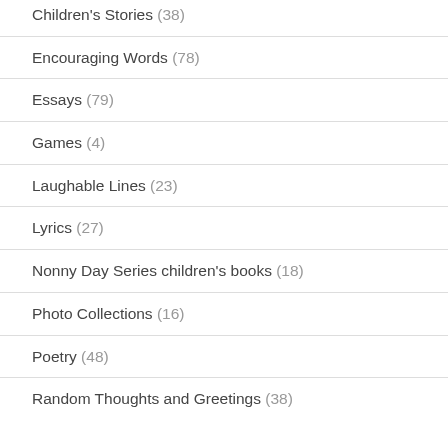Children's Stories (38)
Encouraging Words (78)
Essays (79)
Games (4)
Laughable Lines (23)
Lyrics (27)
Nonny Day Series children's books (18)
Photo Collections (16)
Poetry (48)
Random Thoughts and Greetings (38)